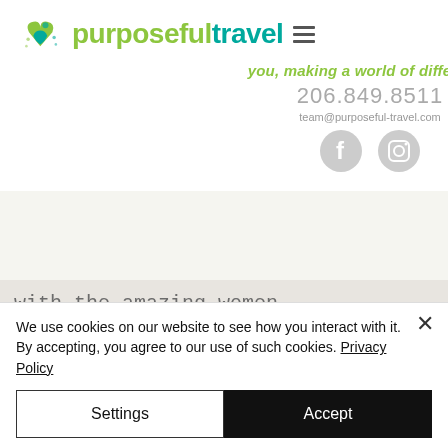[Figure (logo): Purposeful Travel logo with heart/hands icon, green and teal text]
you, making a world of difference
206.849.8511
team@purposeful-travel.com
[Figure (other): Facebook and Instagram social media icon buttons]
[Figure (photo): Colorful street scene photo in top right corner]
with
me, I
rip
with the amazing women
married to my husbands five
brothers (no, that doesn't
We use cookies on our website to see how you interact with it. By accepting, you agree to our use of such cookies. Privacy Policy
Settings
Accept